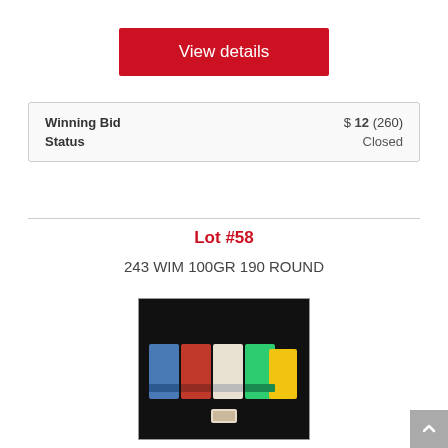View details
| Winning Bid | $ 12 (260) |
| Status | Closed |
Lot #58
243 WIM 100GR 190 ROUND
[Figure (photo): Photograph of multiple boxes of 243 WIM 100GR ammunition arranged on a dark background.]